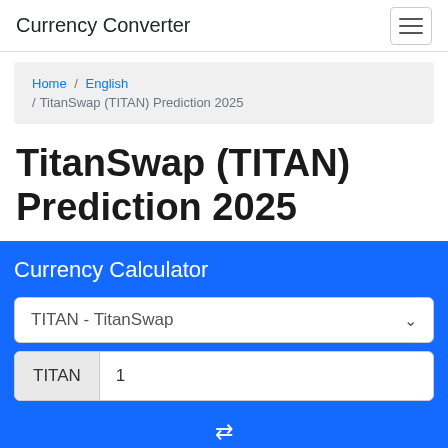Currency Converter
Home / English / TitanSwap (TITAN) Prediction 2025
TitanSwap (TITAN) Prediction 2025
Currency Calculator
TITAN - TitanSwap
TITAN  1